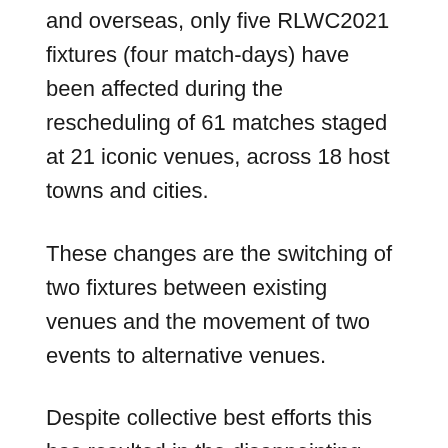and overseas, only five RLWC2021 fixtures (four match-days) have been affected during the rescheduling of 61 matches staged at 21 iconic venues, across 18 host towns and cities.
These changes are the switching of two fixtures between existing venues and the movement of two events to alternative venues.
Despite collective best efforts this has resulted in the disappointing loss of both Anfield Stadium and the M&S Bank Arena, Liverpool from the schedule due to the